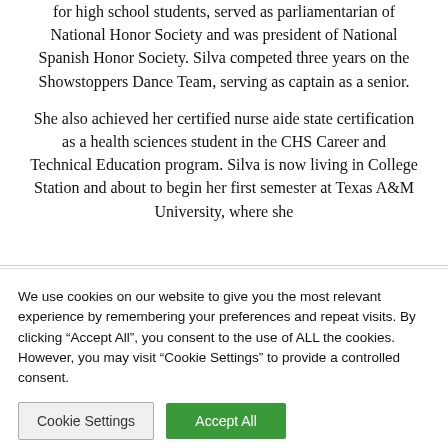for high school students, served as parliamentarian of National Honor Society and was president of National Spanish Honor Society. Silva competed three years on the Showstoppers Dance Team, serving as captain as a senior.
She also achieved her certified nurse aide state certification as a health sciences student in the CHS Career and Technical Education program. Silva is now living in College Station and about to begin her first semester at Texas A&M University, where she
We use cookies on our website to give you the most relevant experience by remembering your preferences and repeat visits. By clicking “Accept All”, you consent to the use of ALL the cookies. However, you may visit "Cookie Settings" to provide a controlled consent.